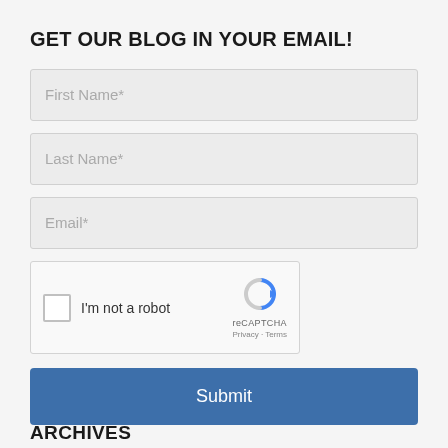GET OUR BLOG IN YOUR EMAIL!
First Name*
Last Name*
Email*
[Figure (other): reCAPTCHA widget with checkbox labeled 'I'm not a robot', reCAPTCHA logo, Privacy and Terms links]
Submit
ARCHIVES